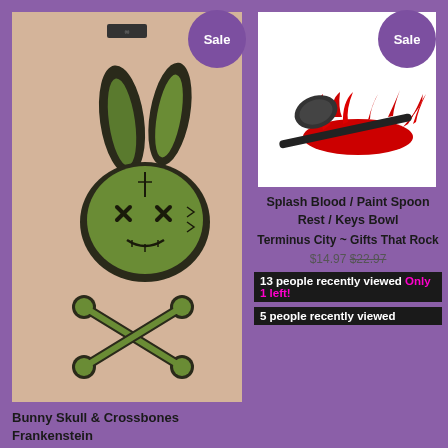[Figure (photo): Baby onesie/shirt with green zombie Frankenstein bunny skull and crossbones graphic on tan/nude fabric]
[Figure (photo): Black spoon with red paint/blood splash splattered on white background]
Sale
Sale
Splash Blood / Paint Spoon Rest / Keys Bowl
Terminus City ~ Gifts That Rock
$14.97 $22.97
13 people recently viewed Only 1 left!
5 people recently viewed
Bunny Skull & Crossbones Frankenstein